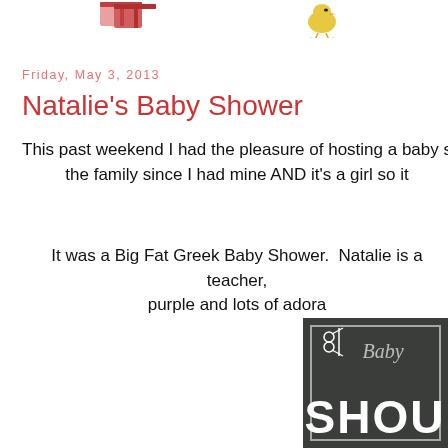[Figure (illustration): Partial top portion showing decorative gift/present illustration (pink/red boxes) on the left side and a small chick/bird illustration in the center-right, cut off at top of page]
Friday, May 3, 2013
Natalie's Baby Shower
This past weekend I had the pleasure of hosting a baby s... the family since I had mine AND it's a girl so it...
It was a Big Fat Greek Baby Shower.  Natalie is a teacher, ... purple and lots of adora...
[Figure (photo): Chalkboard-style Baby Shower sign with white decorative border, scissors/flower embellishment at top, cursive 'Baby' text, and large block letters 'SHOW...' visible, dark gray chalkboard background]